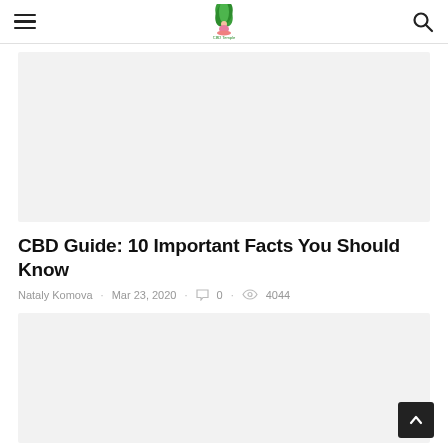CBD Temple — navigation header with hamburger menu, logo, and search icon
[Figure (photo): Hero image placeholder — light gray rectangle]
CBD Guide: 10 Important Facts You Should Know
Nataly Komova   Mar 23, 2020   0   4044
[Figure (photo): Secondary article image placeholder — light gray rectangle]